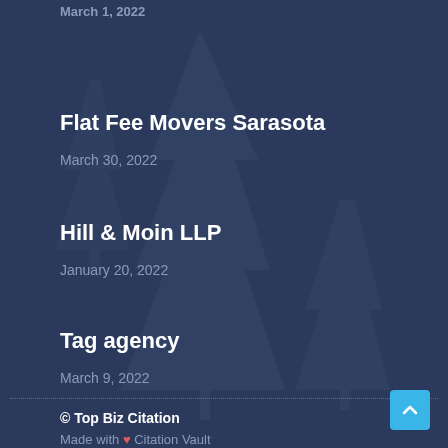March 1, 2022
Flat Fee Movers Sarasota
March 30, 2022
Hill & Moin LLP
January 20, 2022
Tag agency
March 9, 2022
© Top Biz Citation
Made with ❤ Citation Vault